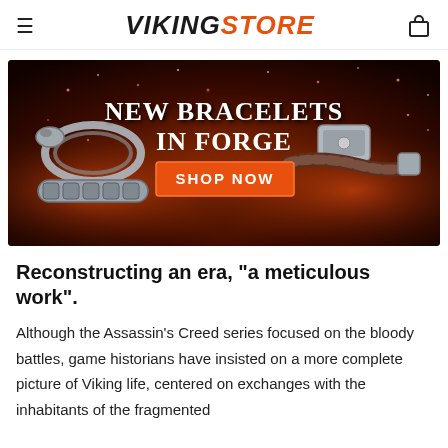VIKINGSTORE
[Figure (infographic): Dark fiery background banner advertisement showing Viking bracelets. Text reads 'New Bracelets In Forge' with a 'SHOP NOW' orange button. Two Viking-style bracelets are shown on left (silver knotwork) and right (leather with silver clasp).]
Reconstructing an era, "a meticulous work".
Although the Assassin's Creed series focused on the bloody battles, game historians have insisted on a more complete picture of Viking life, centered on exchanges with the inhabitants of the fragmented